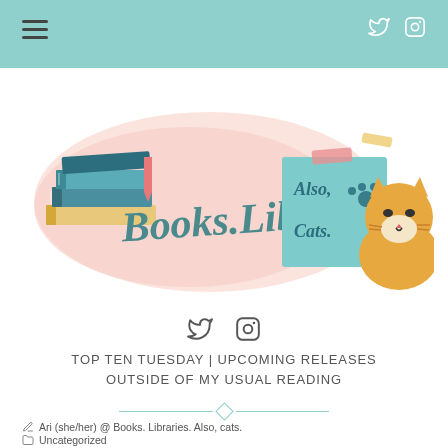Navigation bar with hamburger menu and social icons (Twitter, Instagram)
[Figure (illustration): Blog banner for 'Books. Libraries. Also, cats.' with illustrated stack of books, a cute cat, sticky note reading 'Also, cats.' with paw print, and script text 'Books.Libraries.' on a pink watercolor background]
[Figure (other): Social media icons row: Twitter bird and Instagram camera icons]
TOP TEN TUESDAY | UPCOMING RELEASES OUTSIDE OF MY USUAL READING
[Figure (other): Teal decorative divider with diamond shape in center]
Ari (she/her) @ Books. Libraries. Also, cats.
Uncategorized
22 Comments